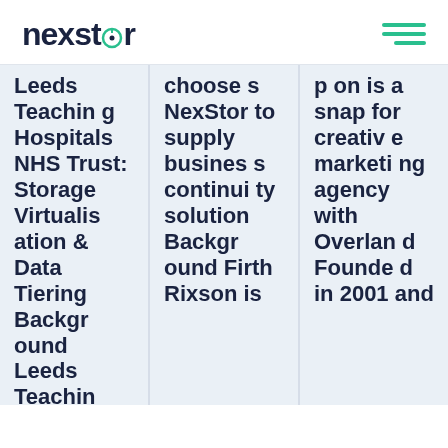nexstor
Leeds Teaching Hospitals NHS Trust: Storage Virtualisation & Data Tiering Background Leeds Teachin
chooses NexStor to supply business continuity solution Background Firth Rixson is
on is a snap for creative marketing agency with Overland Founded in 2001 and